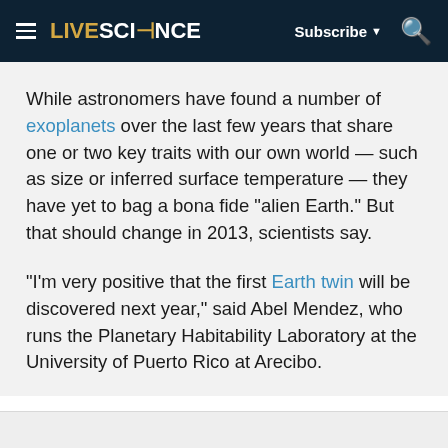LIVESCIENCE | Subscribe | Search
While astronomers have found a number of exoplanets over the last few years that share one or two key traits with our own world — such as size or inferred surface temperature — they have yet to bag a bona fide "alien Earth." But that should change in 2013, scientists say.
"I'm very positive that the first Earth twin will be discovered next year," said Abel Mendez, who runs the Planetary Habitability Laboratory at the University of Puerto Rico at Arecibo.